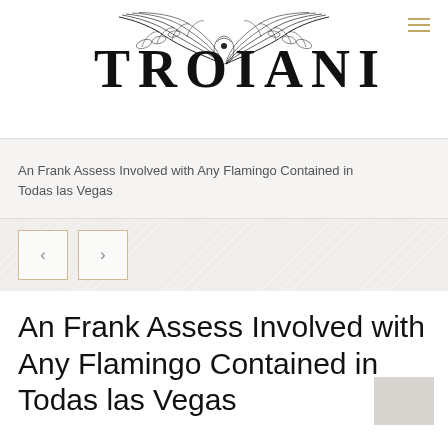[Figure (logo): TROIANI logo with decorative wings above the text and serif lettering]
An Frank Assess Involved with Any Flamingo Contained in Todas las Vegas
[Figure (other): Navigation slider area with left and right arrow buttons on a diagonal-striped background]
An Frank Assess Involved with Any Flamingo Contained in Todas las Vegas